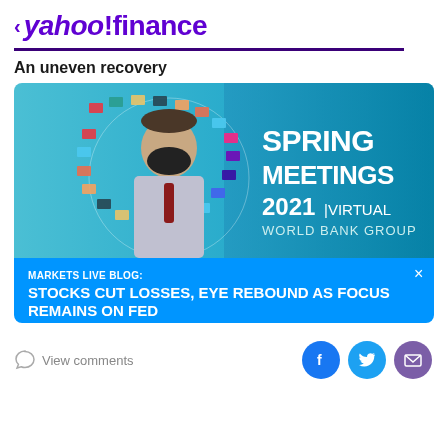< yahoo!finance
An uneven recovery
[Figure (screenshot): World Bank Group Spring Meetings 2021 Virtual banner with a masked person surrounded by international flags on a blue background. Overlay blue bar reads: MARKETS LIVE BLOG: STOCKS CUT LOSSES, EYE REBOUND AS FOCUS REMAINS ON FED]
View comments